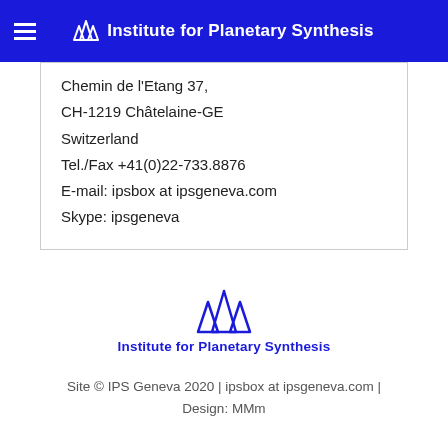Institute for Planetary Synthesis
Chemin de l'Etang 37,
CH-1219 Châtelaine-GE
Switzerland
Tel./Fax +41(0)22-733.8876
E-mail: ipsbox at ipsgeneva.com
Skype: ipsgeneva
[Figure (logo): Institute for Planetary Synthesis logo — three blue mountain/triangle peaks with the text 'Institute for Planetary Synthesis' below in blue]
Site © IPS Geneva 2020 | ipsbox at ipsgeneva.com | Design: MMm